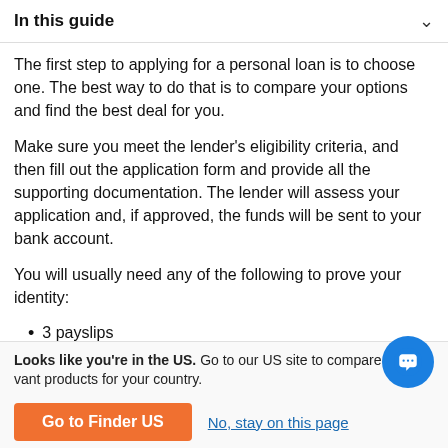In this guide
The first step to applying for a personal loan is to choose one. The best way to do that is to compare your options and find the best deal for you.
Make sure you meet the lender's eligibility criteria, and then fill out the application form and provide all the supporting documentation. The lender will assess your application and, if approved, the funds will be sent to your bank account.
You will usually need any of the following to prove your identity:
3 payslips
Bank statements
Looks like you're in the US. Go to our US site to compare relevant products for your country.
Go to Finder US
No, stay on this page